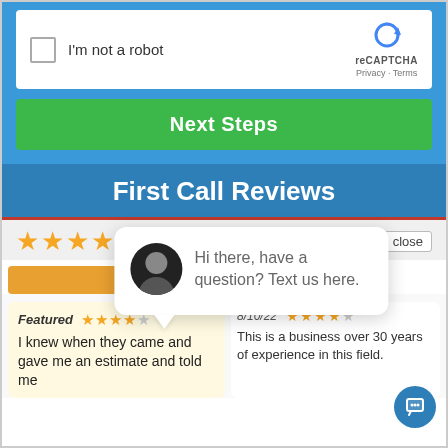[Figure (screenshot): reCAPTCHA checkbox widget with 'I'm not a robot' label and reCAPTCHA logo with Privacy and Terms links]
Next Steps
First Call Reviews
[Figure (infographic): Five gold star rating with 'close' button]
[Figure (infographic): Chat popup with avatar: Hi there, have a question? Text us here.]
Featured ★★★★☆ I knew when they came and gave me an estimate and told me
8/10/22 ★★★★☆ This is a business over 30 years of experience in this field.